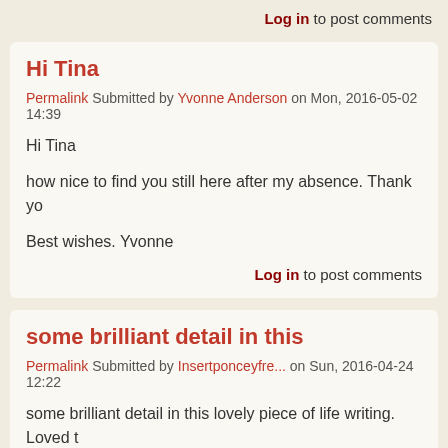Log in to post comments
Hi Tina
Permalink Submitted by Yvonne Anderson on Mon, 2016-05-02 14:39
Hi Tina

how nice to find you still here after my absence. Thank yo

Best wishes. Yvonne
Log in to post comments
some brilliant detail in this
Permalink Submitted by Insertponceyfre... on Sun, 2016-04-24 12:22
some brilliant detail in this lovely piece of life writing. Loved t